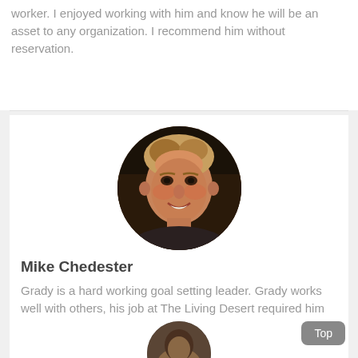worker. I enjoyed working with him and know he will be an asset to any organization. I recommend him without reservation.
[Figure (photo): Circular portrait photo of Mike Chedester, a middle-aged man with short blonde hair, smiling, wearing a dark shirt]
Mike Chedester
Grady is a hard working goal setting leader. Grady works well with others, his job at The Living Desert required him to manage and teach volunteers in all areas of the park, animal, plant and education. I would hire Grady again.
[Figure (photo): Partial circular portrait photo of another person, only the top of the head visible at the bottom of the page]